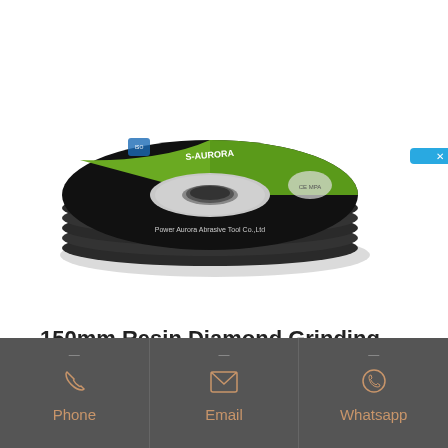[Figure (photo): Stack of grinding discs/wheels (abrasive cut-off discs) with green and black face showing S-Aurora brand label]
150mm Resin Diamond Grinding Wheel Disc Cup Grinder Cutter
3" ~ 8" Resin Diamond Grinding Wheel Abrasive Disc for Carbide Cutter Grinder 4.5" 115mm
[Figure (infographic): Chinese online consultation button (在线咨询) in blue on right side]
[Figure (infographic): Bottom navigation bar with Phone, Email, Whatsapp icons in dark grey background with copper/orange labels]